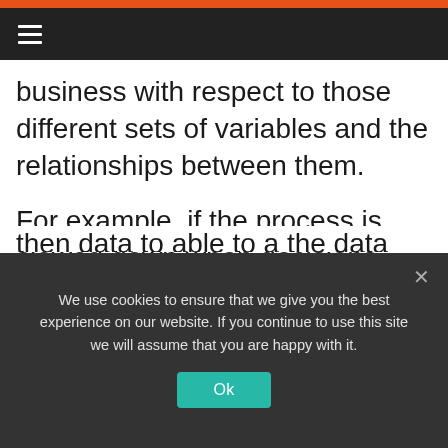≡
business with respect to those different sets of variables and the relationships between them.
For example, if the process is slowed down when decisions have to be made, and the data tells you that given a certain set of variables the decision is going to be the same in 100% of cases,
We use cookies to ensure that we give you the best experience on our website. If you continue to use this site we will assume that you are happy with it.